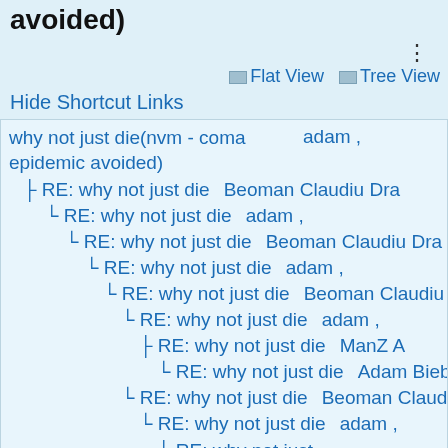avoided)
⋮
☰ Flat View ☰ Tree View
Hide Shortcut Links
why not just die(nvm - coma epidemic avoided) — adam ,
RE: why not just die — Beoman Claudiu Dra
RE: why not just die — adam ,
RE: why not just die — Beoman Claudiu Dra
RE: why not just die — adam ,
RE: why not just die — Beoman Claudiu Dra
RE: why not just die — adam ,
RE: why not just die — ManZ A
RE: why not just die — Adam Bieber
RE: why not just die — Beoman Claudiu Dra
RE: why not just die — adam ,
RE: why not just die — Adam Bieber